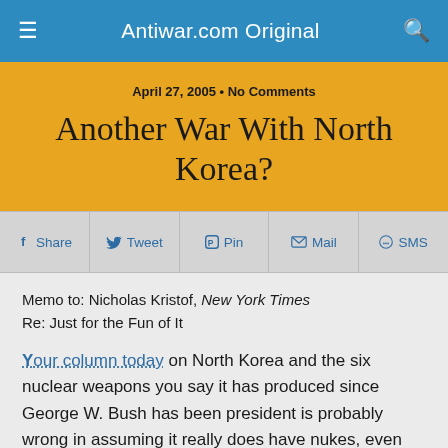Antiwar.com Original
Another War With North Korea?
April 27, 2005 • No Comments
Share  Tweet  Pin  Mail  SMS
Memo to: Nicholas Kristof, New York Times
Re: Just for the Fun of It
Your column today on North Korea and the six nuclear weapons you say it has produced since George W. Bush has been president is probably wrong in assuming it really does have nukes, even